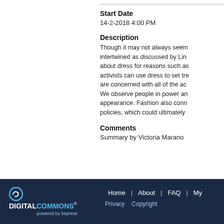Start Date
14-2-2018 4:00 PM
Description
Though it may not always seem intertwined as discussed by Lin... about dress for reasons such as activists can use dress to set tre... are concerned with all of the ac... We observe people in power an... appearance. Fashion also conn... policies, which could ultimately...
Comments
Summary by Victoria Marano
Digital Commons powered by bepress | Home | About | FAQ | My... | Privacy | Copyright